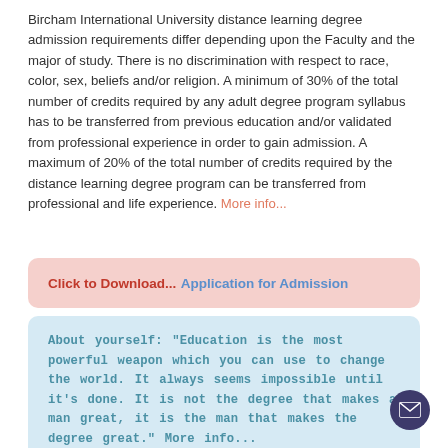Bircham International University distance learning degree admission requirements differ depending upon the Faculty and the major of study. There is no discrimination with respect to race, color, sex, beliefs and/or religion. A minimum of 30% of the total number of credits required by any adult degree program syllabus has to be transferred from previous education and/or validated from professional experience in order to gain admission. A maximum of 20% of the total number of credits required by the distance learning degree program can be transferred from professional and life experience. More info...
Click to Download... Application for Admission
About yourself: "Education is the most powerful weapon which you can use to change the world. It always seems impossible until it's done. It is not the degree that makes a man great, it is the man that makes the degree great." More info...